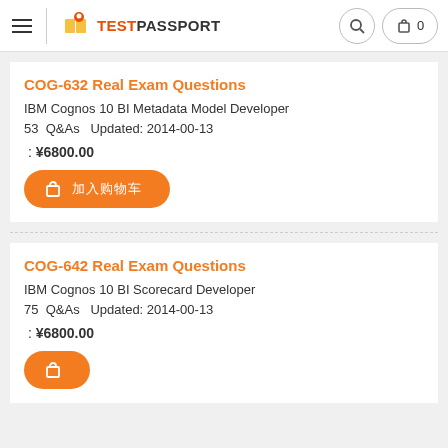TESTPASSPORT
COG-632 Real Exam Questions
IBM Cognos 10 BI Metadata Model Developer
53  Q&As  Updated: 2014-00-13
: ¥6800.00
COG-642 Real Exam Questions
IBM Cognos 10 BI Scorecard Developer
75  Q&As  Updated: 2014-00-13
: ¥6800.00